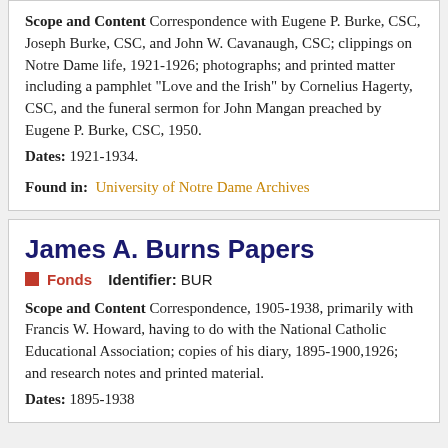Scope and Content Correspondence with Eugene P. Burke, CSC, Joseph Burke, CSC, and John W. Cavanaugh, CSC; clippings on Notre Dame life, 1921-1926; photographs; and printed matter including a pamphlet "Love and the Irish" by Cornelius Hagerty, CSC, and the funeral sermon for John Mangan preached by Eugene P. Burke, CSC, 1950.
Dates: 1921-1934.
Found in:  University of Notre Dame Archives
James A. Burns Papers
Fonds   Identifier: BUR
Scope and Content Correspondence, 1905-1938, primarily with Francis W. Howard, having to do with the National Catholic Educational Association; copies of his diary, 1895-1900,1926; and research notes and printed material.
Dates: 1895-1938